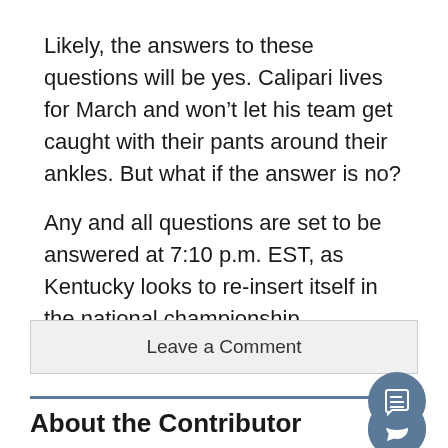Likely, the answers to these questions will be yes. Calipari lives for March and won't let his team get caught with their pants around their ankles. But what if the answer is no?

Any and all questions are set to be answered at 7:10 p.m. EST, as Kentucky looks to re-insert itself in the national championship conversation.
Leave a Comment
About the Contributor
Hunter Shelton, Sports Editor